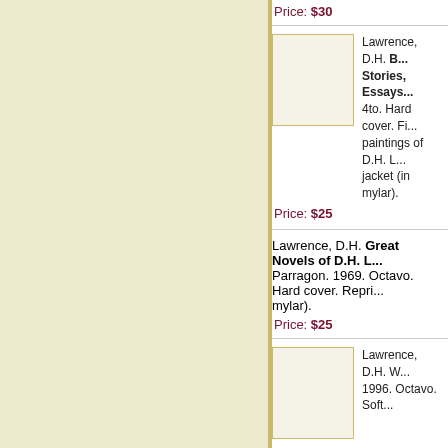Price: $30
[Figure (photo): Book cover image placeholder]
Lawrence, D.H. B... Stories, Essays... 4to. Hard cover. Fi... paintings of D.H. L... jacket (in mylar).
Price: $25
Lawrence, D.H. Great Novels of D.H. L... Parragon. 1969. Octavo. Hard cover. Repri... mylar).
Price: $25
[Figure (photo): Book cover image placeholder]
Lawrence, D.H. W... 1996. Octavo. Soft...